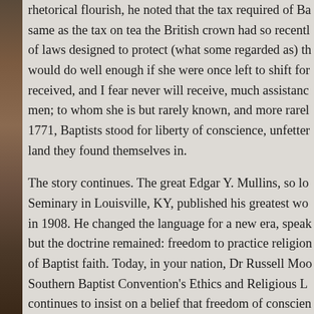rhetorical flourish, he noted that the tax required of Ba same as the tax on tea the British crown had so recentl of laws designed to protect (what some regarded as) th would do well enough if she were once left to shift for received, and I fear never will receive, much assistanc men; to whom she is but rarely known, and more rarel 1771, Baptists stood for liberty of conscience, unfetter land they found themselves in.
The story continues. The great Edgar Y. Mullins, so lo Seminary in Louisville, KY, published his greatest wo in 1908. He changed the language for a new era, speak but the doctrine remained: freedom to practice religion of Baptist faith. Today, in your nation, Dr Russell Moo Southern Baptist Convention's Ethics and Religious L continues to insist on a belief that freedom of conscien ethics. On the call to close your nation's borders to Mu liberal – has written 'Anyone who cares an iota about denounce this reckless, demagogic rhetoric.'